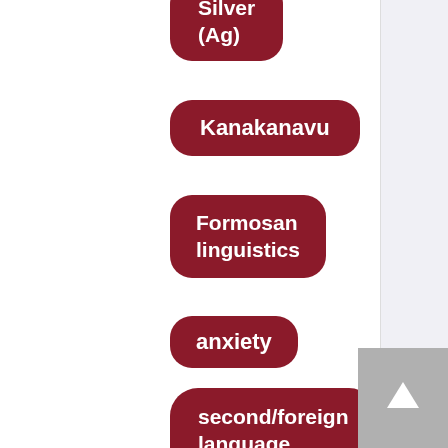Silver (Ag)
Kanakanavu
Formosan linguistics
anxiety
second/foreign language speaking test
path analysis
General English Proficiency Test